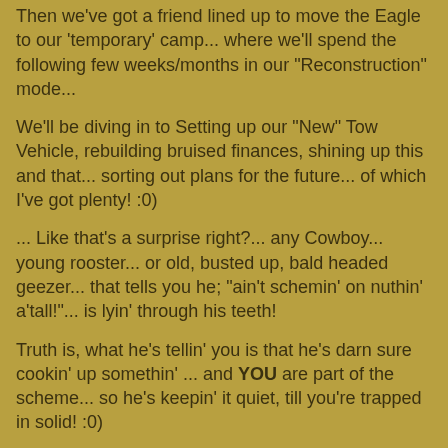Then we've got a friend lined up to move the Eagle to our 'temporary' camp... where we'll spend the following few weeks/months in our "Reconstruction" mode...
We'll be diving in to Setting up our "New" Tow Vehicle, rebuilding bruised finances, shining up this and that... sorting out plans for the future... of which I've got plenty! :0)
... Like that's a surprise right?... any Cowboy... young rooster... or old, busted up, bald headed geezer... that tells you he; "ain't schemin' on nuthin' a'tall!"... is lyin' through his teeth!
Truth is, what he's tellin' you is that he's darn sure cookin' up somethin' ... and YOU are part of the scheme... so he's keepin' it quiet, till you're trapped in solid! :0)
Yes sir... things are movin' along... and progress is comin'... I just hope that bright light... ain't a Freightliner... or the Boss comin' early! :0)
Take Good Care
Brian